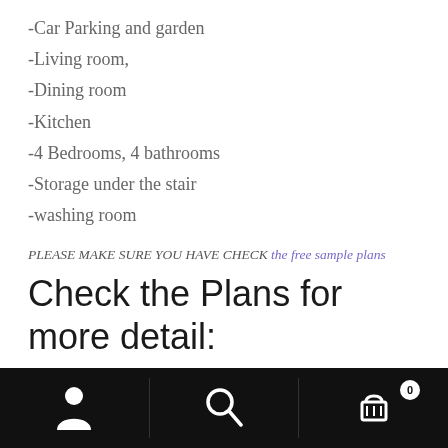-Car Parking and garden
-Living room,
-Dining room
-Kitchen
-4 Bedrooms, 4 bathrooms
-Storage under the stair
-washing room
PLEASE MAKE SURE YOU HAVE CHECK the free sample plans
Check the Plans for more detail: